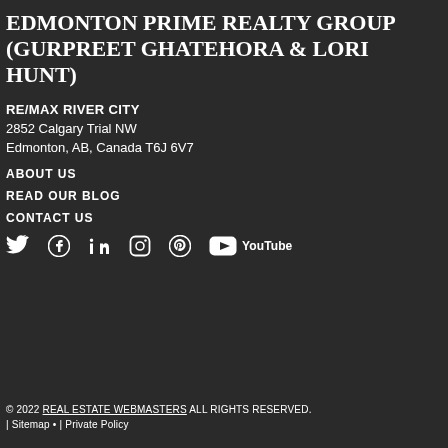EDMONTON PRIME REALTY GROUP (GURPREET GHATEHORA & LORI HUNT)
RE/MAX RIVER CITY
2852 Calgary Trial NW
Edmonton, AB, Canada T6J 6V7
ABOUT US
READ OUR BLOG
CONTACT US
[Figure (other): Social media icons row: Twitter, Facebook, LinkedIn, Instagram, Pinterest, YouTube]
© 2022 REAL ESTATE WEBMASTERS ALL RIGHTS RESERVED.
| Sitemap • | Private Policy